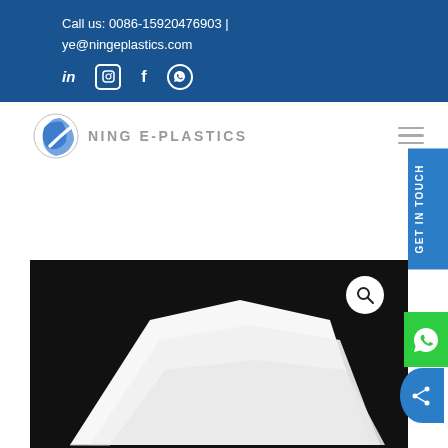Call us: 0086-15920476903 | ye@ningeplastics.com
[Figure (logo): Ning E-Plastics company logo with circular globe graphic and company name NING E-PLASTICS]
[Figure (photo): Product photo of white plastic sheets stacked against a black background with a search/zoom icon overlay]